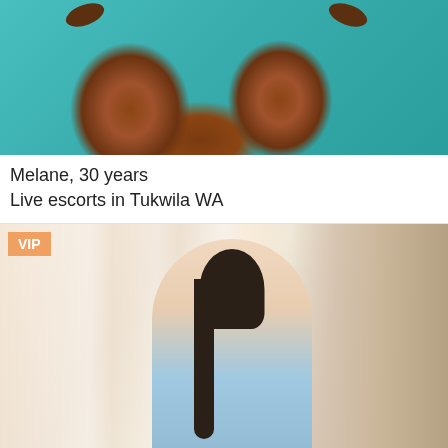[Figure (photo): Photo of a person on a teal/turquoise background, cropped showing lower body with heels]
Melane, 30 years
Live escorts in Tukwila WA
[Figure (photo): VIP listing photo of a young Asian woman smiling, wearing light blue top, with floral curtains and wooden panel in background]
VIP